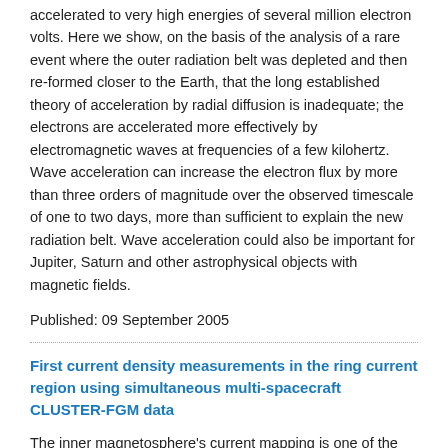accelerated to very high energies of several million electron volts. Here we show, on the basis of the analysis of a rare event where the outer radiation belt was depleted and then re-formed closer to the Earth, that the long established theory of acceleration by radial diffusion is inadequate; the electrons are accelerated more effectively by electromagnetic waves at frequencies of a few kilohertz. Wave acceleration can increase the electron flux by more than three orders of magnitude over the observed timescale of one to two days, more than sufficient to explain the new radiation belt. Wave acceleration could also be important for Jupiter, Saturn and other astrophysical objects with magnetic fields.
Published: 09 September 2005
First current density measurements in the ring current region using simultaneous multi-spacecraft CLUSTER-FGM data
The inner magnetosphere's current mapping is one of the key elements for current loop closure inside the entire magnetosphere. A method for directly computing the current is the multi-spacecraft curlometer technique, which is based on the application of Maxwell-Ampère's law. This requires the use of four-point magnetic field high resolution measurements. The FGM experiment on board the four Cluster spacecraft allows, for the first time, an instantaneous calculation of the magnetic field gradients and thus a